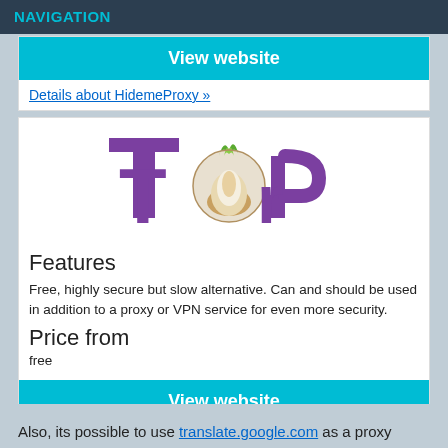NAVIGATION
View website
Details about HidemeProxy »
[Figure (logo): Tor Project logo — stylized purple 'Tor' text with an onion replacing the letter 'o']
Features
Free, highly secure but slow alternative. Can and should be used in addition to a proxy or VPN service for even more security.
Price from
free
View website
Details about Torproject »
Also, its possible to use translate.google.com as a proxy